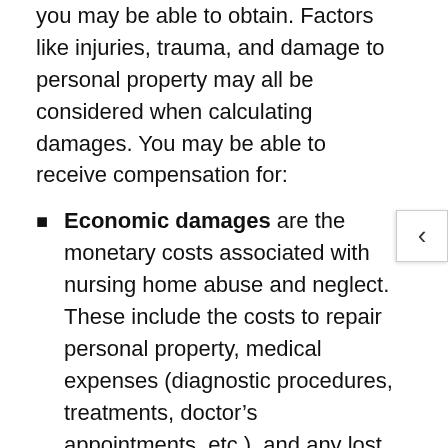you may be able to obtain. Factors like injuries, trauma, and damage to personal property may all be considered when calculating damages. You may be able to receive compensation for:
Economic damages are the monetary costs associated with nursing home abuse and neglect. These include the costs to repair personal property, medical expenses (diagnostic procedures, treatments, doctor's appointments, etc.), and any lost income or wages as a result of recovery. The best way to calculate economic damages is to maintain a file of medical expenses and other costs incurred because of abuse and neglect.
Noneconomic damages are the non-financial costs of any pain or suffering associated with abuse or neglect. Examples of these damages include